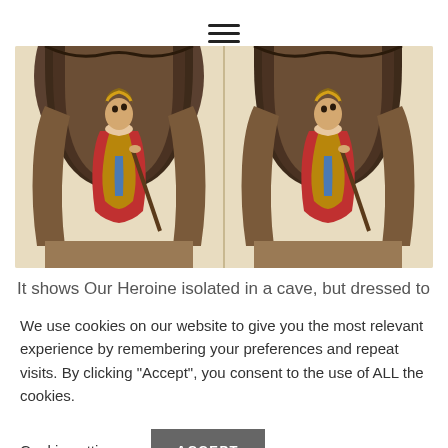[Figure (photo): Stereoscopic photo showing a woman (Our Heroine) isolated in a cave, dressed in colorful costume (red and gold draping), holding a staff, looking upward. The image is duplicated side by side as a stereo card.]
It shows Our Heroine isolated in a cave, but dressed to kill,
We use cookies on our website to give you the most relevant experience by remembering your preferences and repeat visits. By clicking “Accept”, you consent to the use of ALL the cookies.
Cookie settings
ACCEPT